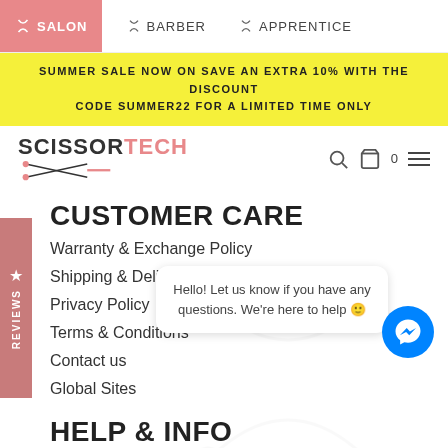SALON | BARBER | APPRENTICE
SUMMER SALE NOW ON SAVE AN EXTRA 10% WITH THE DISCOUNT CODE SUMMER22 FOR A LIMITED TIME ONLY
[Figure (logo): ScissorTech logo with scissors graphic, search icon, bag icon with count 0, and hamburger menu]
CUSTOMER CARE
Warranty & Exchange Policy
Shipping & Delivery
Privacy Policy
Terms & Conditions
Contact us
Global Sites
Hello! Let us know if you have any questions. We're here to help 🙂
HELP & INFO